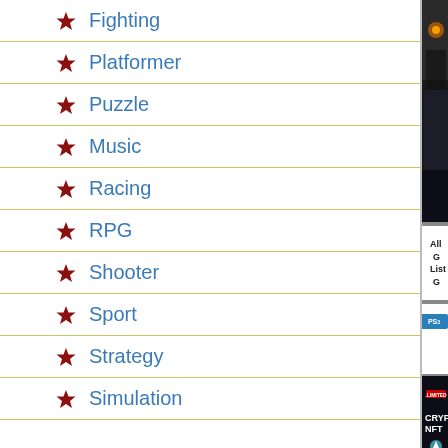Fighting
Platformer
Puzzle
Music
Racing
RPG
Shooter
Sport
Strategy
Simulation
[Figure (screenshot): Game screenshot showing a dark armored character with glowing eyes]
All G... List G...
[Figure (logo): PS3 logo button in blue]
[Figure (screenshot): CryptoNFT .LIMITED banner advertisement with dark background]
BACK TO TOP
Paw Patrol Mighty Pups Save Adventur...